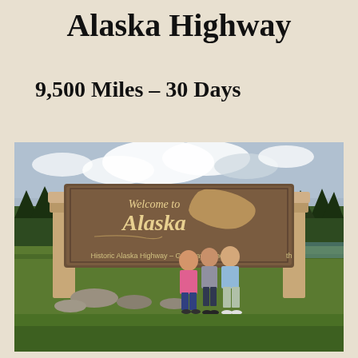Alaska Highway
9,500 Miles – 30 Days
[Figure (photo): Three people (a woman in a pink shirt, a man, and a teenage boy in a light blue shirt) standing in front of the 'Welcome to Alaska' sign on the Historic Alaska Highway – Gateway to the 49th State. The sign is a large wooden structure with an outline of Alaska carved into it. Background shows green grass, trees, and a cloudy sky.]